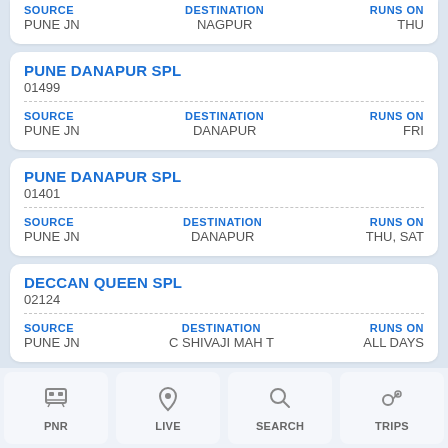| SOURCE | DESTINATION | RUNS ON |
| --- | --- | --- |
| PUNE JN | NAGPUR | THU |
PUNE DANAPUR SPL
01499
| SOURCE | DESTINATION | RUNS ON |
| --- | --- | --- |
| PUNE JN | DANAPUR | FRI |
PUNE DANAPUR SPL
01401
| SOURCE | DESTINATION | RUNS ON |
| --- | --- | --- |
| PUNE JN | DANAPUR | THU, SAT |
DECCAN QUEEN SPL
02124
| SOURCE | DESTINATION | RUNS ON |
| --- | --- | --- |
| PUNE JN | C SHIVAJI MAH T | ALL DAYS |
PNR  LIVE  SEARCH  TRIPS